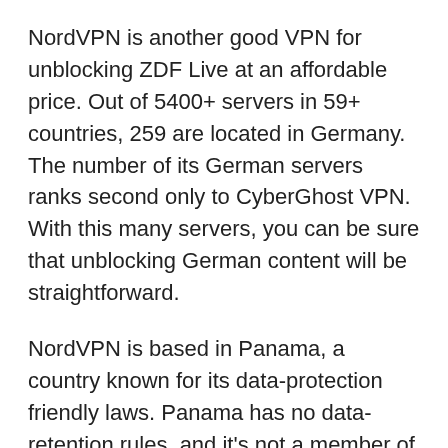NordVPN is another good VPN for unblocking ZDF Live at an affordable price. Out of 5400+ servers in 59+ countries, 259 are located in Germany. The number of its German servers ranks second only to CyberGhost VPN. With this many servers, you can be sure that unblocking German content will be straightforward.
NordVPN is based in Panama, a country known for its data-protection friendly laws. Panama has no data-retention rules, and it's not a member of international surveillance alliances, so you can be sure that NordVPN's “No-Logs” policy is as strict as it says.
For user protection, NordVPN uses AES encryption with 256-bit keys. It also uses IKEv2, OpenVPN, and NordLynx. There are no bandwidth caps so that you can escape buffering with this VPN.